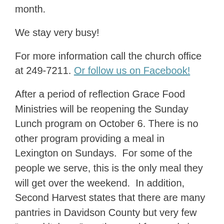month.
We stay very busy!
For more information call the church office at 249-7211. Or follow us on Facebook!
After a period of reflection Grace Food Ministries will be reopening the Sunday Lunch program on October 6. There is no other program providing a meal in Lexington on Sundays. For some of the people we serve, this is the only meal they will get over the weekend. In addition, Second Harvest states that there are many pantries in Davidson County but very few “soup kitchens”, so the need for meals is greater.
We recognize that a weakness in the past kitchen management was concentrating the work with only a